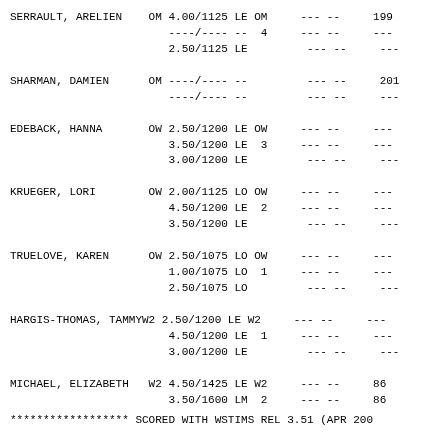| SERRAULT, ARELIEN | OM | 4.00/1125 | LE | OM | --- -- | 199 |
|  |  | ----/---- | -- | 4 | --- -- | --- |
|  |  | 2.50/1125 | LE |  | --- -- | --- |
| SHARMAN, DAMIEN | OM | ----/---- | -- |  | --- -- | 201 |
|  |  | ----/---- | -- |  | --- -- | --- |
| EDEBACK, HANNA | OW | 2.50/1200 | LE | OW | --- -- | --- |
|  |  | 3.50/1200 | LE | 3 | --- -- | --- |
|  |  | 3.00/1200 | LE |  | --- -- | --- |
| KRUEGER, LORI | OW | 2.00/1125 | LO | OW | --- -- | --- |
|  |  | 4.50/1200 | LE | 2 | --- -- | --- |
|  |  | 3.50/1200 | LE |  | --- -- | --- |
| TRUELOVE, KAREN | OW | 2.50/1075 | LO | OW | --- -- | --- |
|  |  | 1.00/1075 | LO | 1 | --- -- | --- |
|  |  | 2.50/1075 | LO |  | --- -- | --- |
| HARGIS-THOMAS, TAMMY | W2 | 2.50/1200 | LE | W2 | --- -- | --- |
|  |  | 4.50/1200 | LE | 1 | --- -- | --- |
|  |  | 3.00/1200 | LE |  | --- -- | --- |
| MICHAEL, ELIZABETH | W2 | 4.50/1425 | LE | W2 | --- -- | 86 |
|  |  | 3.50/1600 | LM | 2 | --- -- | 86 |
****************** SCORED WITH WSTIMS REL 3.51 (APR 200